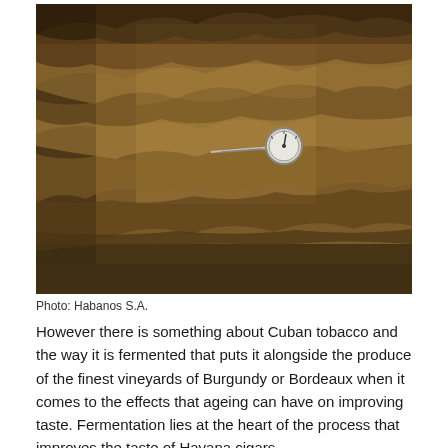[Figure (photo): Large pile of dried fermenting tobacco leaves filling the frame, with a round metal thermometer/gauge probe inserted into the pile, used to monitor fermentation temperature. The pile is in a rustic barn or warehouse setting.]
Photo: Habanos S.A.
However there is something about Cuban tobacco and the way it is fermented that puts it alongside the produce of the finest vineyards of Burgundy or Bordeaux when it comes to the effects that ageing can have on improving taste. Fermentation lies at the heart of the process that improves the taste of Havana cigars.
Although the role of fermentation is well understood in the